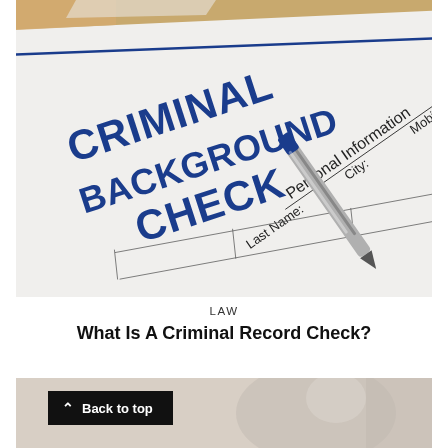[Figure (photo): Close-up photo of a Criminal Background Check form with 'CRIMINAL BACKGROUND CHECK' printed in large dark blue text. The form shows sections for Personal Information with fields for Last Name, City, and Mobile Phone. A blue and silver pen rests on the form.]
LAW
What Is A Criminal Record Check?
[Figure (photo): Partially visible photo at bottom of page, showing a blurred background scene, with a dark 'Back to top' button overlay in the lower left area.]